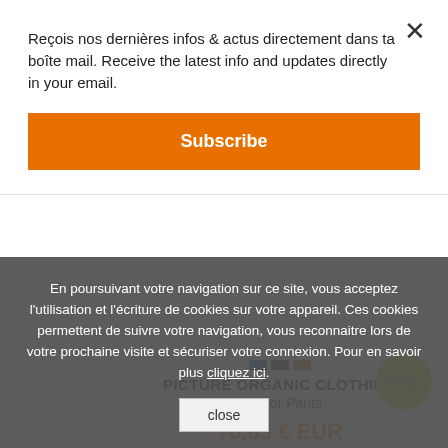Reçois nos dernières infos & actus directement dans ta boîte mail. Receive the latest info and updates directly in your email.
Subscribe
PICTURE ORGANIC CLOTHING
Feodor Pants
70,83 € EUR
En poursuivant votre navigation sur ce site, vous acceptez l'utilisation et l'écriture de cookies sur votre appareil. Ces cookies permettent de suivre votre navigation, vous reconnaitre lors de votre prochaine visite et sécuriser votre connexion. Pour en savoir plus cliquez ici.
close